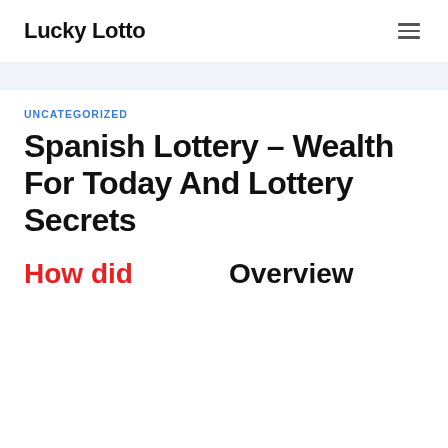Lucky Lotto
UNCATEGORIZED
Spanish Lottery – Wealth For Today And Lottery Secrets
How did
Overview